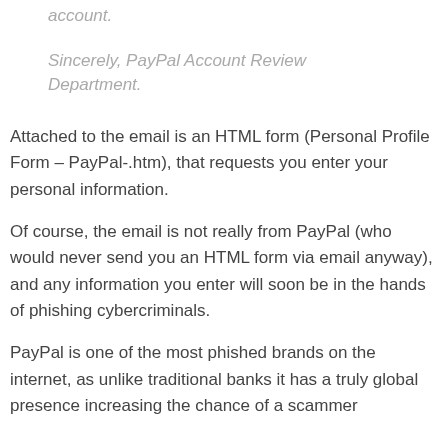account.
Sincerely, PayPal Account Review Department.
Attached to the email is an HTML form (Personal Profile Form – PayPal-.htm), that requests you enter your personal information.
Of course, the email is not really from PayPal (who would never send you an HTML form via email anyway), and any information you enter will soon be in the hands of phishing cybercriminals.
PayPal is one of the most phished brands on the internet, as unlike traditional banks it has a truly global presence increasing the chance of a scammer